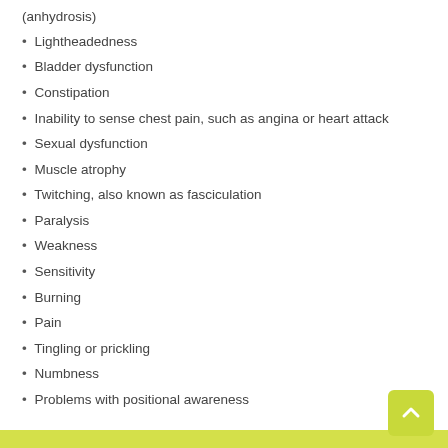(anhydrosis)
Lightheadedness
Bladder dysfunction
Constipation
Inability to sense chest pain, such as angina or heart attack
Sexual dysfunction
Muscle atrophy
Twitching, also known as fasciculation
Paralysis
Weakness
Sensitivity
Burning
Pain
Tingling or prickling
Numbness
Problems with positional awareness
Treatment of Neuropraxia
Neuropraxia is often treated and cured by non-operative means. The primary goals of treatment are to maintain the proper nutrition of the paralyzed muscles, prevent contraction by the antagonists of the